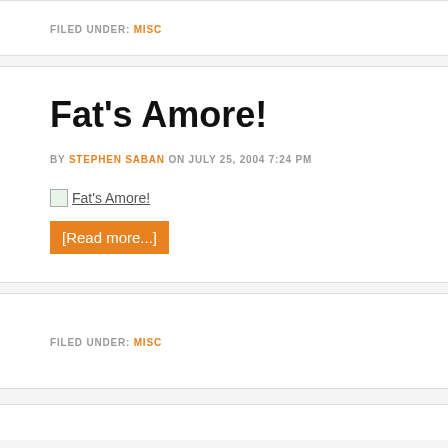FILED UNDER: MISC
Fat's Amore!
BY STEPHEN SABAN ON JULY 25, 2004 7:24 PM
[Figure (other): Broken image placeholder labeled Fat's Amore!]
[Read more...]
FILED UNDER: MISC